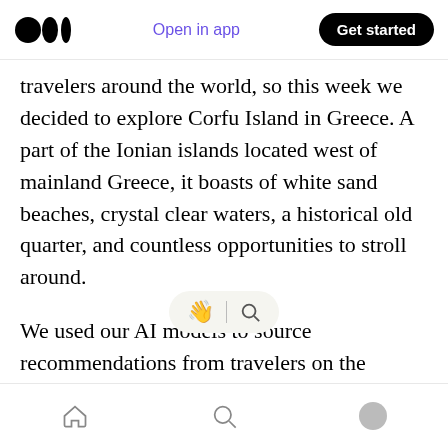Medium app header: logo, Open in app, Get started
travelers around the world, so this week we decided to explore Corfu Island in Greece. A part of the Ionian islands located west of mainland Greece, it boasts of white sand beaches, crystal clear waters, a historical old quarter, and countless opportunities to stroll around.
We used our AI models to source recommendations from travelers on the Internet by studying their Instagram posts, YouTube videos, travel blogs [UI overlay] dvisor reviews. Our Culture AI detecte [UI overlay] ng emotions from
Bottom navigation bar: Home, Search, Profile